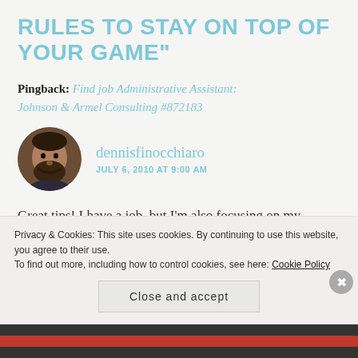RULES TO STAY ON TOP OF YOUR GAME”
Pingback: Find job Administrative Assistant: Johnson & Armel Consulting #872183
dennisfinocchiaro
JULY 6, 2010 AT 9:00 AM
Great tips! I have a job, but I’m also focusing on my writing, and these tips work for that too, and so
Privacy & Cookies: This site uses cookies. By continuing to use this website, you agree to their use.
To find out more, including how to control cookies, see here: Cookie Policy
Close and accept